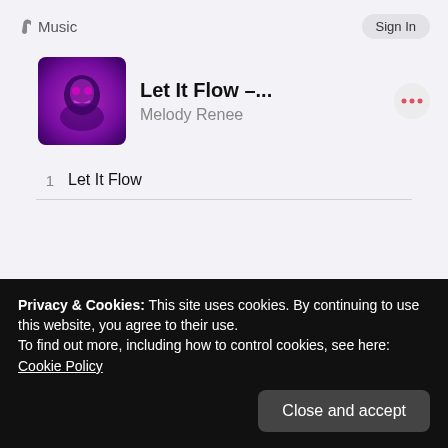Music   Sign In
[Figure (illustration): Album art for 'Let It Flow' by Melody Renee — dark purple/pink background with stylized face graphic]
Let It Flow -...
Melody Renee
1   Let It Flow
Privacy & Cookies: This site uses cookies. By continuing to use this website, you agree to their use.
To find out more, including how to control cookies, see here: Cookie Policy
Close and accept